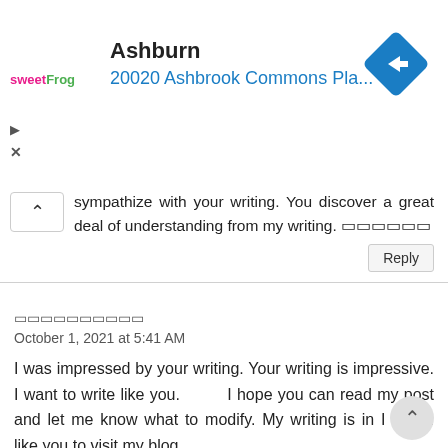[Figure (other): Advertisement banner for sweetFrog restaurant at Ashburn, 20020 Ashbrook Commons Pla... with a blue navigation diamond icon on the right]
sympathize with your writing. You discover a great deal of understanding from my writing. 글글글글글글
Reply
글글글글글글글글글글
October 1, 2021 at 5:41 AM
I was impressed by your writing. Your writing is impressive. I want to write like you.        I hope you can read my post and let me know what to modify. My writing is in I would like you to visit my blog.